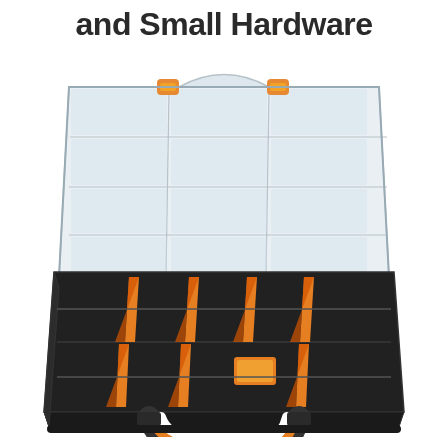and Small Hardware
[Figure (photo): An open plastic parts organizer / storage box with a clear lid showing a grid of compartments (3 columns × 4 rows visible), orange latch clips on the lid, a black base tray with removable orange dividers creating multiple compartments, and an orange and black carry handle at the bottom.]